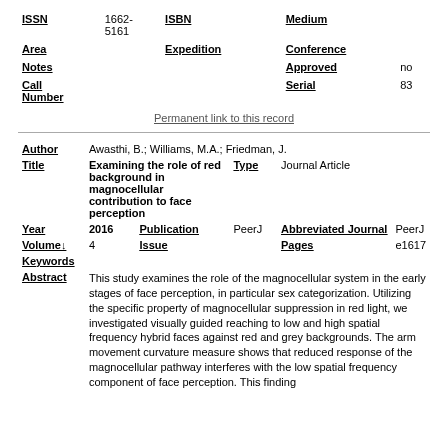| ISSN | 1662-5161 | ISBN |  | Medium |  |
| Area |  | Expedition |  | Conference |  |
| Notes |  |  |  | Approved | no |
| Call Number |  |  |  | Serial | 83 |
Permanent link to this record
| Author | Awasthi, B.; Williams, M.A.; Friedman, J. |  |  |
| Title | Examining the role of red background in magnocellular contribution to face perception | Type | Journal Article |
| Year | 2016 | Publication | PeerJ | Abbreviated Journal | PeerJ |
| Volume ↓ | 4 | Issue |  | Pages | e1617 |
| Keywords |  |  |  |  |  |
| Abstract | This study examines the role of the magnocellular system in the early stages of face perception, in particular sex categorization. Utilizing the specific property of magnocellular suppression in red light, we investigated visually guided reaching to low and high spatial frequency hybrid faces against red and grey backgrounds. The arm movement curvature measure shows that reduced response of the magnocellular pathway interferes with the low spatial frequency component of face perception. This finding |  |  |